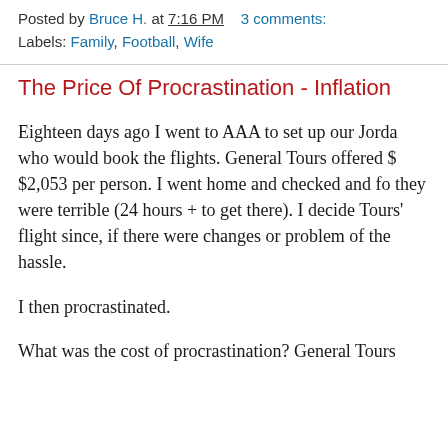Posted by Bruce H. at 7:16 PM    3 comments:
Labels: Family, Football, Wife
The Price Of Procrastination - Inflation
Eighteen days ago I went to AAA to set up our Jorda who would book the flights. General Tours offered $ $2,053 per person. I went home and checked and fo they were terrible (24 hours + to get there). I decide Tours' flight since, if there were changes or problem of the hassle.
I then procrastinated.
What was the cost of procrastination? General Tours